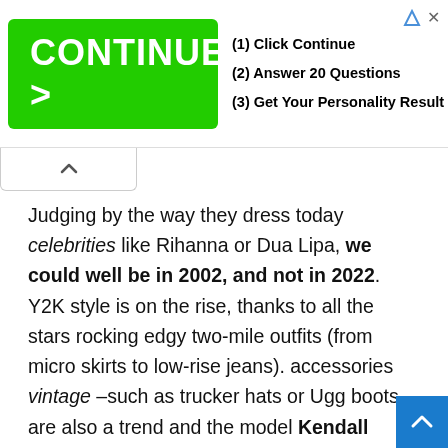[Figure (screenshot): Advertisement banner with green 'CONTINUE >' button and steps: (1) Click Continue, (2) Answer 20 Questions, (3) Get Your Personality Result]
Judging by the way they dress today celebrities like Rihanna or Dua Lipa, we could well be in 2002, and not in 2022. Y2K style is on the rise, thanks to all the stars rocking edgy two-mile outfits (from micro skirts to low-rise jeans). accessories vintage –such as trucker hats or Ugg boots– are also a trend and the model Kendall Jenner never far behind. Today, on Instagram, she has tried to wear screen sunglasses, the most cutting-edge of the time.
Instagram contents
This content can also be viewed on the site it originates from. If you are a fan of The Simple Life you will remember that Paris Hilton and Nicole Richie They wore these huge